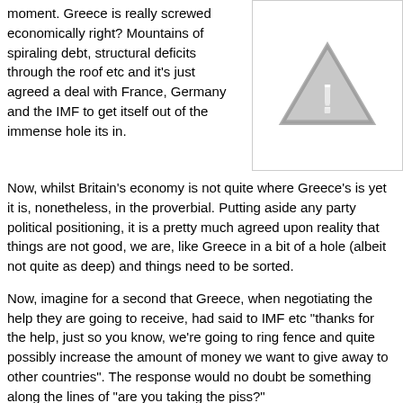moment. Greece is really screwed economically right? Mountains of spiraling debt, structural deficits through the roof etc and it's just agreed a deal with France, Germany and the IMF to get itself out of the immense hole its in.
[Figure (illustration): Warning triangle icon with exclamation mark, grey/silver color on white background, inside a bordered box]
Now, whilst Britain's economy is not quite where Greece's is yet it is, nonetheless, in the proverbial. Putting aside any party political positioning, it is a pretty much agreed upon reality that things are not good, we are, like Greece in a bit of a hole (albeit not quite as deep) and things need to be sorted.
Now, imagine for a second that Greece, when negotiating the help they are going to receive, had said to IMF etc "thanks for the help, just so you know, we're going to ring fence and quite possibly increase the amount of money we want to give away to other countries". The response would no doubt be something along the lines of "are you taking the piss?"